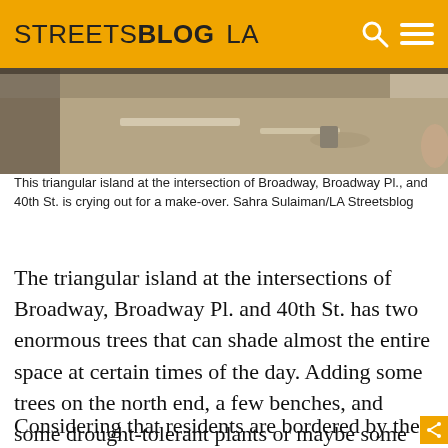STREETSBLOG LA
[Figure (photo): Aerial/ground level photo of a triangular island at a street intersection, showing pavement and some objects on the ground]
This triangular island at the intersection of Broadway, Broadway Pl., and 40th St. is crying out for a make-over. Sahra Sulaiman/LA Streetsblog
The triangular island at the intersections of Broadway, Broadway Pl. and 40th St. has two enormous trees that can shade almost the entire space at certain times of the day. Adding some trees on the north end, a few benches, and some drought-tolerant plants or maybe some garden boxes in between could make for a lovely space for residents to relax.
Considering that residents are bordered by the 110 freeway, they are at most about half a mile or so from…